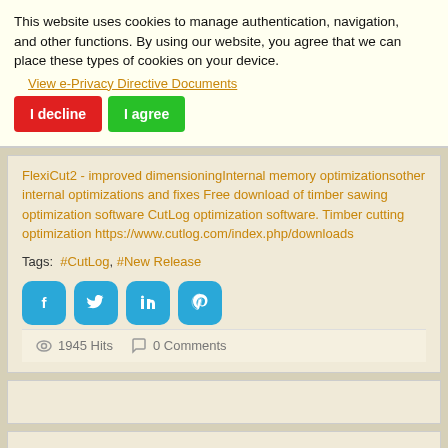This website uses cookies to manage authentication, navigation, and other functions. By using our website, you agree that we can place these types of cookies on your device.
View e-Privacy Directive Documents
FlexiCut2 - improved dimensioningInternal memory optimizationsother internal optimizations and fixes Free download of timber sawing optimization software CutLog optimization software. Timber cutting optimization https://www.cutlog.com/index.php/downloads
Tags:  #CutLog, #New Release
[Figure (infographic): Four social sharing buttons: Facebook, Twitter, LinkedIn, Pinterest — all in blue with rounded corners and white icons]
1945 Hits    0 Comments